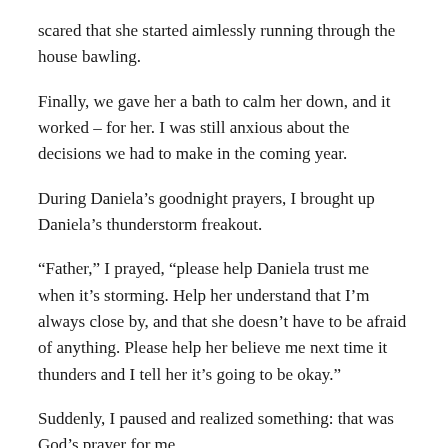scared that she started aimlessly running through the house bawling.
Finally, we gave her a bath to calm her down, and it worked – for her. I was still anxious about the decisions we had to make in the coming year.
During Daniela's goodnight prayers, I brought up Daniela's thunderstorm freakout.
“Father,” I prayed, “please help Daniela trust me when it’s storming. Help her understand that I’m always close by, and that she doesn’t have to be afraid of anything. Please help her believe me next time it thunders and I tell her it’s going to be okay.”
Suddenly, I paused and realized something: that was God’s prayer for me.